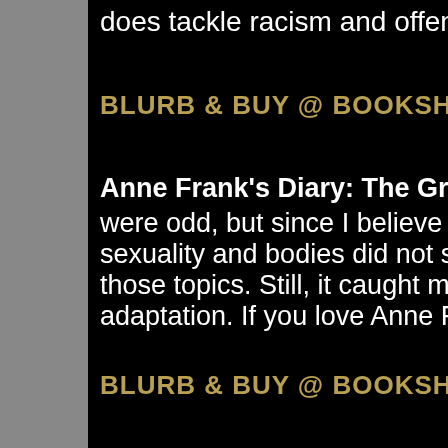does tackle racism and offensive As
BLURB & BUY @ BOOKSHOP
Anne Frank's Diary: The Graphic N
were odd, but since I believe in body sexuality and bodies did not shock m those topics. Still, it caught me off gu adaptation. If you love Anne Frank a
BLURB & BUY @ BOOKSHOP
Persepolis -  This was my second ti in my first, brief review (note how I d